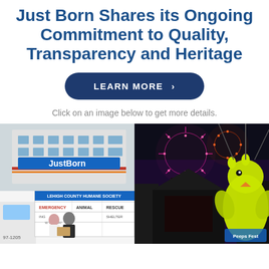Just Born Shares its Ongoing Commitment to Quality, Transparency and Heritage
LEARN MORE >
Click on an image below to get more details.
[Figure (photo): Just Born building exterior with logo sign, and Lehigh County Humane Society emergency animal rescue truck with two people holding a box in front of it]
[Figure (photo): Night scene with fireworks and a large yellow Peeps chick figure illuminated in the foreground, festival atmosphere]